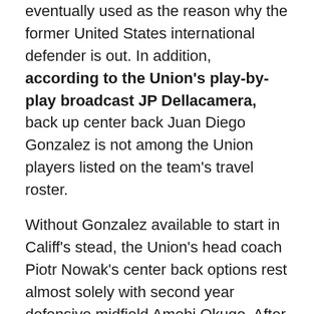eventually used as the reason why the former United States international defender is out. In addition, according to the Union's play-by-play broadcast JP Dellacamera, back up center back Juan Diego Gonzalez is not among the Union players listed on the team's travel roster.
Without Gonzalez available to start in Califf's stead, the Union's head coach Piotr Nowak's center back options rest almost solely with second year defensive midfield Amobi Okugo. After impressing at center back with the Generation Adidas team in Spain against Aletico Madrid and Real Madrid, Okugo became an option for Nowak in defense. Okugo had started the Union's last two games at defensive center midfield to much media and fan acclaim.
Already without left back Jordan Harvey, the Union are